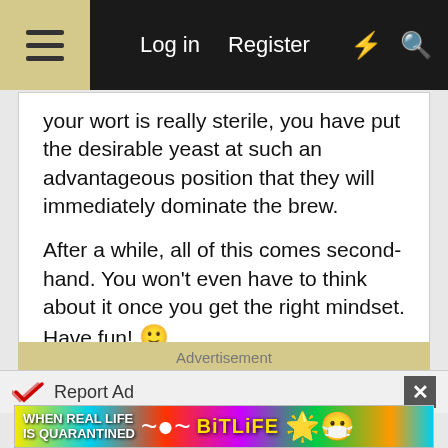Log in  Register
your wort is really sterile, you have put the desirable yeast at such an advantageous position that they will immediately dominate the brew.

After a while, all of this comes second-hand. You won't even have to think about it once you get the right mindset. Have fun! 🙂

Janx
Reply
Advertisement
Report Ad
[Figure (screenshot): BitLife game advertisement banner with rainbow background, text 'WHEN REAL LIFE IS QUARANTINED' and BitLife logo with emoji characters]